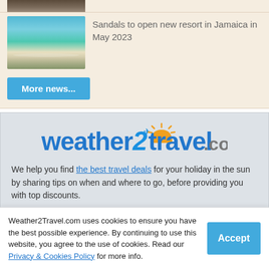[Figure (photo): Partial top image cropped at the top of the page, showing trees/foliage]
[Figure (photo): Beach photo showing turquoise water, white sand, blue sky with clouds and green hills]
Sandals to open new resort in Jamaica in May 2023
More news...
[Figure (logo): weather2travel.com logo with sun graphic]
We help you find the best travel deals for your holiday in the sun by sharing tips on when and where to go, before providing you with top discounts.
What's trending?
Weather2Travel.com uses cookies to ensure you have the best possible experience. By continuing to use this website, you agree to the use of cookies. Read our Privacy & Cookies Policy for more info.